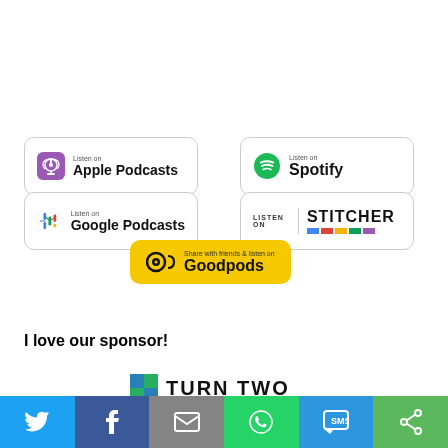[Figure (logo): Listen on Apple Podcasts badge]
[Figure (logo): Listen on Spotify badge]
[Figure (logo): Listen on Google Podcasts badge]
[Figure (logo): Listen on Stitcher badge]
[Figure (logo): Share with friends & listen on Goodpods badge]
I love our sponsor!
[Figure (logo): Turn Two logo (partially visible)]
[Figure (infographic): Social sharing bar with Twitter, Facebook, Email, WhatsApp, SMS, and share icons]